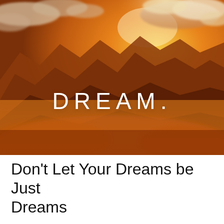[Figure (photo): A dramatic mountain landscape at sunset/sunrise with deep orange and amber tones. Jagged mountain peaks rise against a sky filled with clouds lit golden by the sun. The foreground is bathed in warm orange mist and light. The word DREAM. is overlaid in large white letters in the lower-center of the image.]
Don't Let Your Dreams be Just Dreams